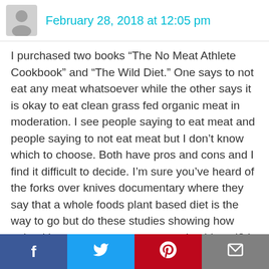February 28, 2018 at 12:05 pm
I purchased two books “The No Meat Athlete Cookbook” and “The Wild Diet.” One says to not eat any meat whatsoever while the other says it is okay to eat clean grass fed organic meat in moderation. I see people saying to eat meat and people saying to not eat meat but I don’t know which to choose. Both have pros and cons and I find it difficult to decide. I’m sure you’ve heard of the forks over knives documentary where they say that a whole foods plant based diet is the way to go but do these studies showing how unhealthy meat eaters are true and unbiased? I feel like if you eat fried meat
Social share bar: Facebook, Twitter, Pinterest, Email